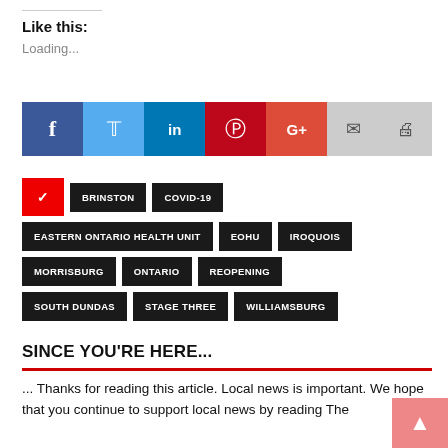Like this:
Loading...
[Figure (infographic): Social share buttons: Facebook (blue), Twitter (light blue), LinkedIn (dark blue), Pinterest (red), Google+ (orange-red), Mail (grey), Print (grey)]
BRINSTON
COVID-19
EASTERN ONTARIO HEALTH UNIT
EOHU
IROQUOIS
MORRISBURG
ONTARIO
REOPENING
SOUTH DUNDAS
STAGE THREE
WILLIAMSBURG
SINCE YOU'RE HERE...
... Thanks for reading this article. Local news is important. We hope that you continue to support local news by reading The